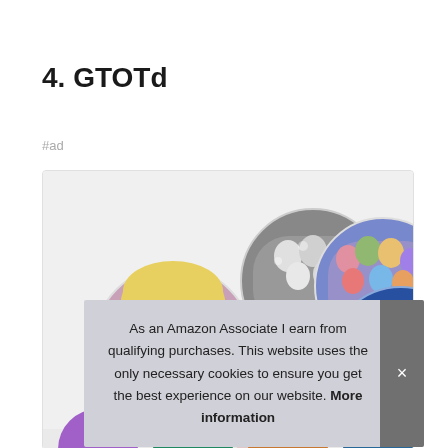4. GTOTd
#ad
[Figure (illustration): Circular anime character artwork buttons/pins featuring various My Hero Academia characters, displayed in an overlapping cluster arrangement. Characters include Toga Himiko, black-and-white group shot, colorful group shot, Dabi, and others partially visible.]
As an Amazon Associate I earn from qualifying purchases. This website uses the only necessary cookies to ensure you get the best experience on our website. More information